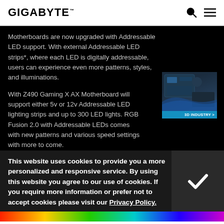GIGABYTE
Motherboards are now upgraded with Addressable LED support. With external Addressable LED strips*, where each LED is digitally addressable, users can experience even more patterns, styles, and illuminations.
With Z490 Gaming X AX Motherboard will support either 5v or 12v Addressable LED lighting strips and up to 300 LED lights. RGB Fusion 2.0 with Addressable LEDs comes with new patterns and various speed settings with more to come.
[Figure (photo): Partial view of a GIGABYTE motherboard product image with '3D INDUSTRY >' label on a blue banner]
This website uses cookies to provide you a more personalized and responsive service. By using this website you agree to our use of cookies. If you require more information or prefer not to accept cookies please visit our Privacy Policy.